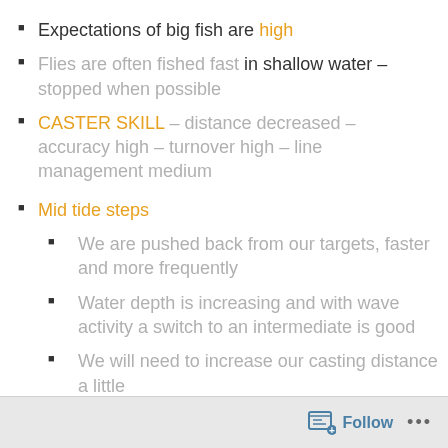Expectations of big fish are high
Flies are often fished fast in shallow water – stopped when possible
CASTER SKILL – distance decreased – accuracy high – turnover high – line management medium
Mid tide steps
We are pushed back from our targets, faster and more frequently
Water depth is increasing and with wave activity a switch to an intermediate is good
We will need to increase our casting distance a little
The density of our fly is decreased, its getting
Follow